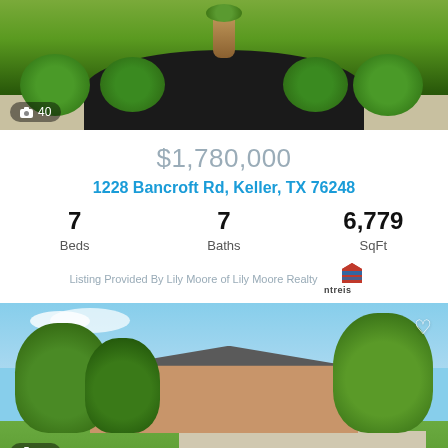[Figure (photo): Top photo of landscaped garden with decorative planter, trimmed shrubs, and dark mulch]
📷 40
$1,780,000
1228 Bancroft Rd, Keller, TX 76248
7 Beds   7 Baths   6,779 SqFt
Listing Provided By Lily Moore of Lily Moore Realty
[Figure (logo): NTREIS logo - red and blue house icon with ntreis text]
[Figure (photo): Bottom photo of brick ranch-style home exterior with large trees and circular driveway]
📷 40